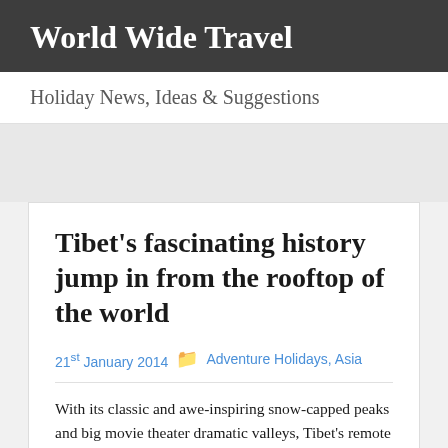World Wide Travel
Holiday News, Ideas & Suggestions
Tibet's fascinating history jump in from the rooftop of the world
21st January 2014   Adventure Holidays, Asia
With its classic and awe-inspiring snow-capped peaks and big movie theater dramatic valleys, Tibet's remote location has fortunately helped to preserve its highly un-